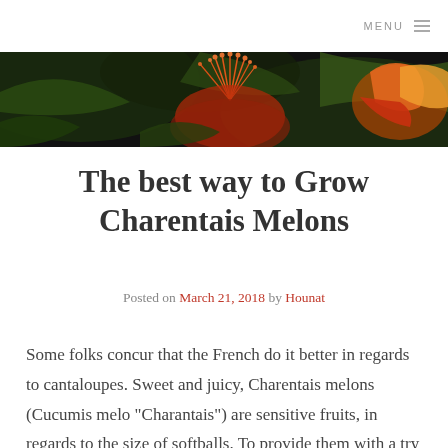MENU
[Figure (photo): Close-up photograph of a red/orange exotic flower with stamens and tropical foliage in the background, dark background.]
The best way to Grow Charentais Melons
Posted on March 21, 2018 by Hounat
Some folks concur that the French do it better in regards to cantaloupes. Sweet and juicy, Charentais melons (Cucumis melo “Charantais”) are sensitive fruits, in regards to the size of softballs. To provide them with a try in your backyard, start them following the last spring frost